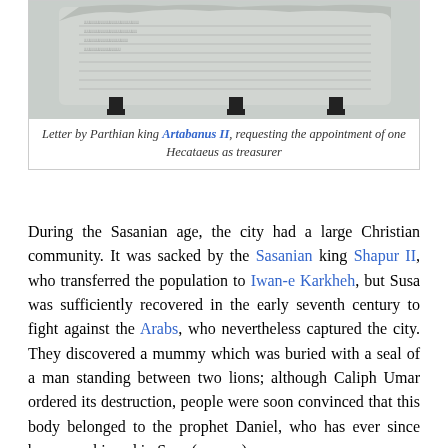[Figure (photo): Stone tablet (inscription) mounted on metal brackets, showing ancient text engraved on stone surface]
Letter by Parthian king Artabanus II, requesting the appointment of one Hecataeus as treasurer
During the Sasanian age, the city had a large Christian community. It was sacked by the Sasanian king Shapur II, who transferred the population to Iwan-e Karkheh, but Susa was sufficiently recovered in the early seventh century to fight against the Arabs, who nevertheless captured the city. They discovered a mummy which was buried with a seal of a man standing between two lions; although Caliph Umar ordered its destruction, people were soon convinced that this body belonged to the prophet Daniel, who has ever since been worshipped in Susa (more...).
The city remained important until the thirteenth century CE. After excavations beginning in 1854...